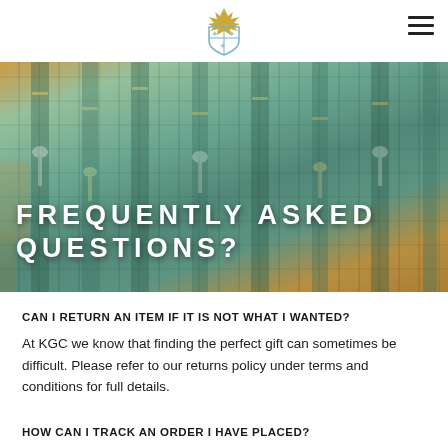KGC logo / navigation header
[Figure (photo): Background photo of keys hanging on a teal/green pegboard with brass hooks]
FREQUENTLY ASKED QUESTIONS?
CAN I RETURN AN ITEM IF IT IS NOT WHAT I WANTED?
At KGC we know that finding the perfect gift can sometimes be difficult. Please refer to our returns policy under terms and conditions for full details.
HOW CAN I TRACK AN ORDER I HAVE PLACED?